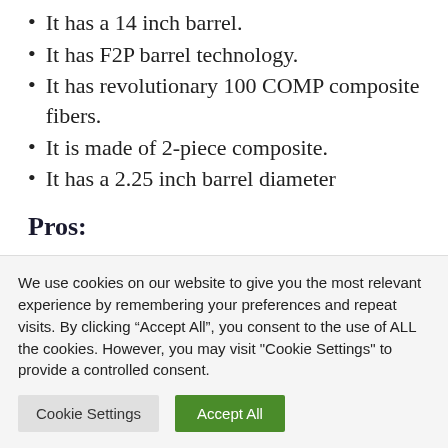It has a 14 inch barrel.
It has F2P barrel technology.
It has revolutionary 100 COMP composite fibers.
It is made of 2-piece composite.
It has a 2.25 inch barrel diameter
Pros:
It has an extended sweet spot.
We use cookies on our website to give you the most relevant experience by remembering your preferences and repeat visits. By clicking “Accept All”, you consent to the use of ALL the cookies. However, you may visit "Cookie Settings" to provide a controlled consent.